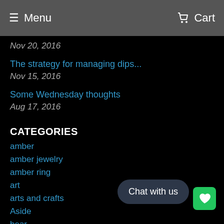Menu   Cart
Nov 20, 2016
The strategy for managing dips...
Nov 15, 2016
Some Wednesday thoughts
Aug 17, 2016
CATEGORIES
amber
amber jewelry
amber ring
art
arts and crafts
Aside
bear